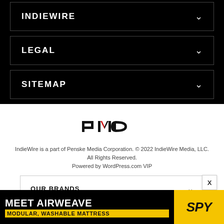INDIEWIRE
LEGAL
SITEMAP
[Figure (logo): PMC (Penske Media Corporation) logo in black and red]
IndieWire is a part of Penske Media Corporation. © 2022 IndieWire Media, LLC. All Rights Reserved.
Powered by WordPress.com VIP
OUR BRANDS
[Figure (screenshot): Advertisement banner: MEET AIRWEAVE - MODULAR, WASHABLE MATTRESS with SPY logo on yellow background]